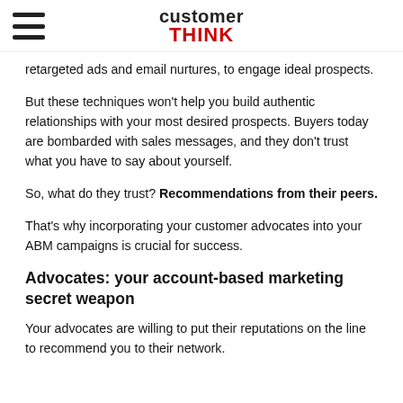customer THINK
retargeted ads and email nurtures, to engage ideal prospects.
But these techniques won't help you build authentic relationships with your most desired prospects. Buyers today are bombarded with sales messages, and they don't trust what you have to say about yourself.
So, what do they trust? Recommendations from their peers.
That's why incorporating your customer advocates into your ABM campaigns is crucial for success.
Advocates: your account-based marketing secret weapon
Your advocates are willing to put their reputations on the line to recommend you to their network.